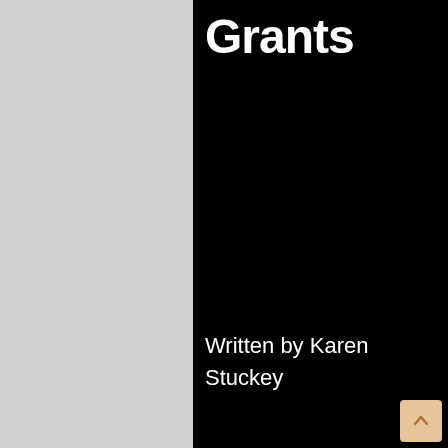Grants
Written by Karen Stuckey
By continuing to use this website, you consent to the use of cookies in accordance with our Policy.
ACCEPT